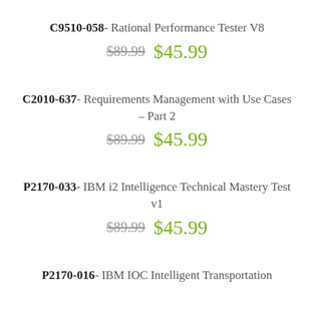C9510-058 - Rational Performance Tester V8
$89.99  $45.99
C2010-637 - Requirements Management with Use Cases – Part 2
$89.99  $45.99
P2170-033 - IBM i2 Intelligence Technical Mastery Test v1
$89.99  $45.99
P2170-016 - IBM IOC Intelligent Transportation